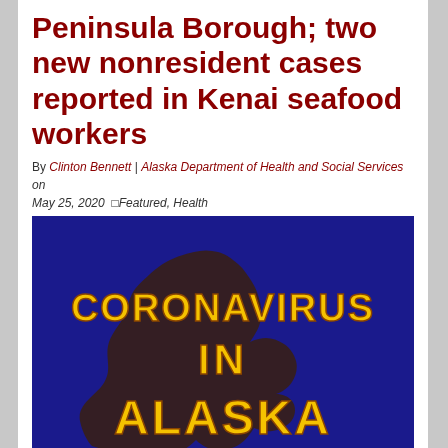Peninsula Borough; two new nonresident cases reported in Kenai seafood workers
By Clinton Bennett | Alaska Department of Health and Social Services on May 25, 2020  Featured, Health
[Figure (illustration): Dark blue background with outline/silhouette of Alaska state map and bold yellow text reading 'CORONAVIRUS IN ALASKA']
May 25, 2020 ANCHORAGE — The Alaska Department